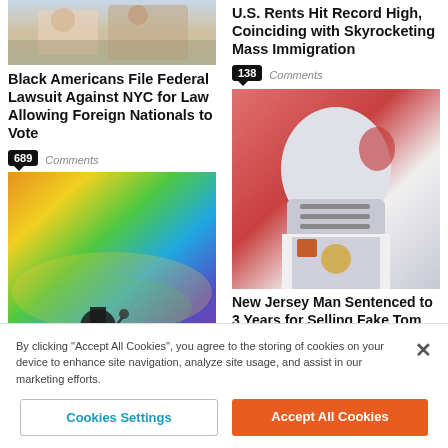[Figure (photo): Top partial photo of people, left column]
Black Americans File Federal Lawsuit Against NYC for Law Allowing Foreign Nationals to Vote
689 Comments
U.S. Rents Hit Record High, Coinciding with Skyrocketing Mass Immigration
138 Comments
[Figure (photo): Rainbow flag with child in foreground]
[Figure (photo): Football player Tom Brady in Buccaneers uniform]
New Jersey Man Sentenced to 3 Years for Selling Fake Tom Brady Super Bowl Rings
By clicking "Accept All Cookies", you agree to the storing of cookies on your device to enhance site navigation, analyze site usage, and assist in our marketing efforts.
Cookies Settings
Accept All Cookies